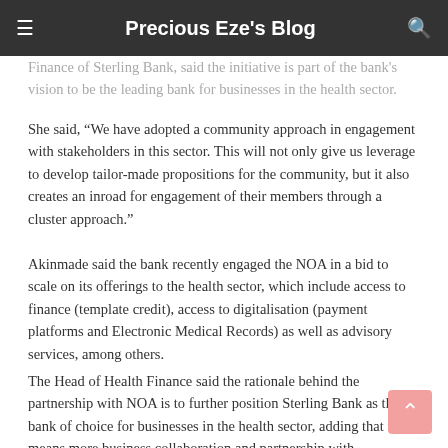Precious Eze's Blog
Finance of Sterling Bank, said the initiative is part of the bank's vision to be the leading bank for businesses in the health sector.
She said, “We have adopted a community approach in engagement with stakeholders in this sector. This will not only give us leverage to develop tailor-made propositions for the community, but it also creates an inroad for engagement of their members through a cluster approach.”
Akinmade said the bank recently engaged the NOA in a bid to scale on its offerings to the health sector, which include access to finance (template credit), access to digitalisation (payment platforms and Electronic Medical Records) as well as advisory services, among others.
The Head of Health Finance said the rationale behind the partnership with NOA is to further position Sterling Bank as the bank of choice for businesses in the health sector, adding that this means more business collaboration and partnership with stakeholders in the health space.
She said the bank has earmarked N10 billion for the entire